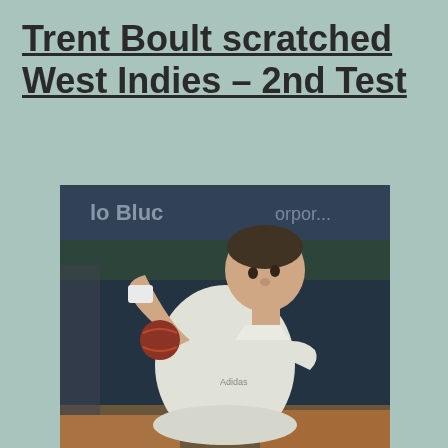Trent Boult scratched West Indies – 2nd Test
[Figure (photo): Cricket player Trent Boult in white cricket uniform, holding a red cricket ball at chest level, with a cricket stadium advertisement board blurred in the background]